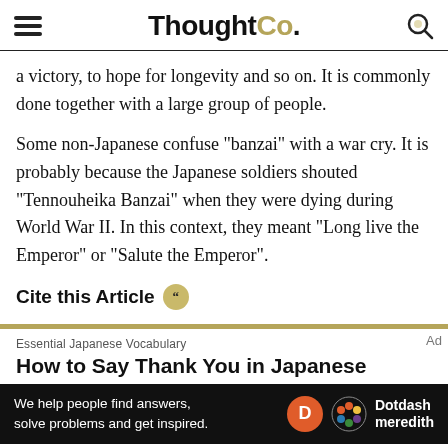ThoughtCo.
a victory, to hope for longevity and so on. It is commonly done together with a large group of people.
Some non-Japanese confuse "banzai" with a war cry. It is probably because the Japanese soldiers shouted "Tennouheika Banzai" when they were dying during World War II. In this context, they meant "Long live the Emperor" or "Salute the Emperor".
Cite this Article
Essential Japanese Vocabulary
How to Say Thank You in Japanese
We help people find answers, solve problems and get inspired. Dotdash meredith